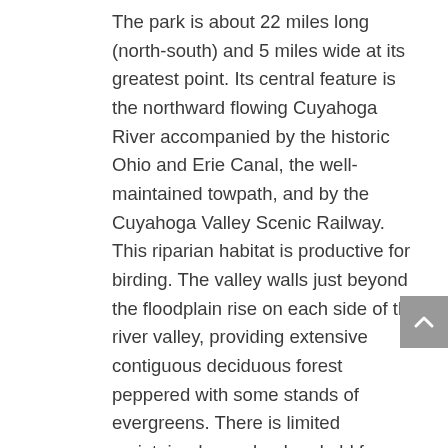The park is about 22 miles long (north-south) and 5 miles wide at its greatest point. Its central feature is the northward flowing Cuyahoga River accompanied by the historic Ohio and Erie Canal, the well-maintained towpath, and by the Cuyahoga Valley Scenic Railway. This riparian habitat is productive for birding. The valley walls just beyond the floodplain rise on each side of the river valley, providing extensive contiguous deciduous forest peppered with some stands of evergreens. There is limited maintained grassland and old farm fields and a number of small ponds. Wetlands are distributed throughout the valley. There is private and leased property interspersed throughout the park and on its variable borders so care should be taken not to infringe on people's privacy.
Marked, maintained dirt hiking and bridle trails, including the Ohio Buckeye Trail, provide easy entry into bird habitat. There are towpaths through the...